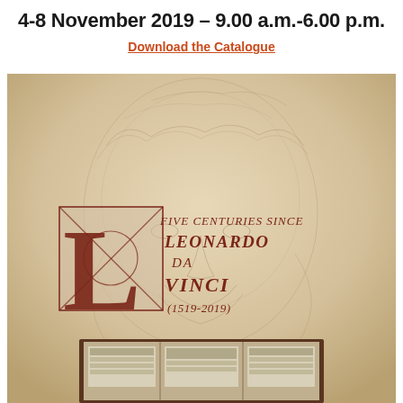4-8 November 2019 – 9.00 a.m.-6.00 p.m.
Download the Catalogue
[Figure (photo): Catalogue cover image for 'Five Centuries Since Leonardo da Vinci (1519-2019)' exhibition, featuring a background sketch of a bearded man (Leonardo self-portrait style) in sepia tones, with a large decorative letter L overlaid, geometric lines, and the text 'Five Centuries Since Leonardo da Vinci (1519-2019)'. At the bottom, an open book with historical illustrations is partially visible.]